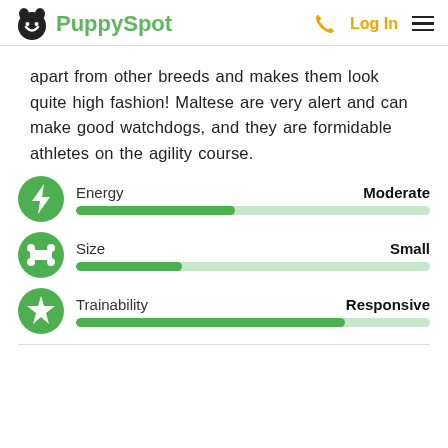PuppySpot | Log In
apart from other breeds and makes them look quite high fashion! Maltese are very alert and can make good watchdogs, and they are formidable athletes on the agility course.
[Figure (infographic): Energy trait bar: label 'Energy', value 'Moderate', bar approximately 45% filled in dark green on light green track, with lightning bolt icon]
[Figure (infographic): Size trait bar: label 'Size', value 'Small', bar approximately 30% filled in dark green on light green track, with bone icon]
[Figure (infographic): Trainability trait bar: label 'Trainability', value 'Responsive', bar approximately 75% filled in dark green on light green track, with star icon]